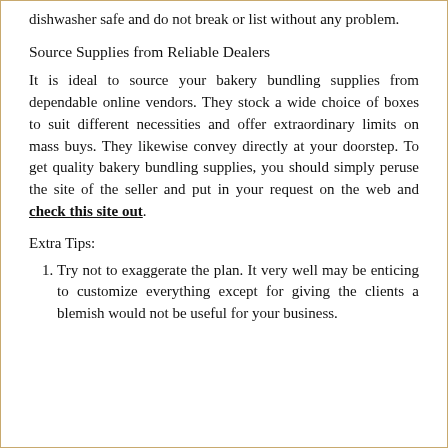dishwasher safe and do not break or list without any problem.
Source Supplies from Reliable Dealers
It is ideal to source your bakery bundling supplies from dependable online vendors. They stock a wide choice of boxes to suit different necessities and offer extraordinary limits on mass buys. They likewise convey directly at your doorstep. To get quality bakery bundling supplies, you should simply peruse the site of the seller and put in your request on the web and check this site out.
Extra Tips:
Try not to exaggerate the plan. It very well may be enticing to customize everything except for giving the clients a blemish would not be useful for your business.